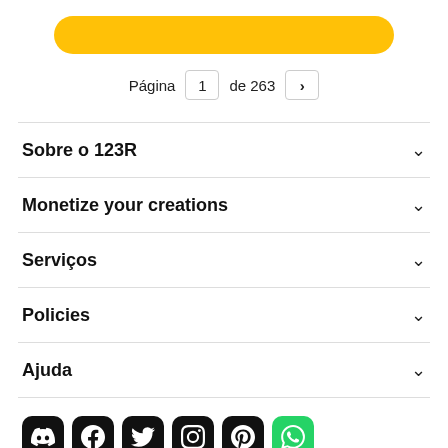[Figure (other): Yellow rounded button (partially visible at top)]
Página 1 de 263 >
Sobre o 123R
Monetize your creations
Serviços
Policies
Ajuda
[Figure (other): Social media icons row: Discord, Facebook, Twitter, Instagram, Pinterest, WhatsApp]
Todos os direitos reservados. © Inmagine Lab Pte Ltd 2022.